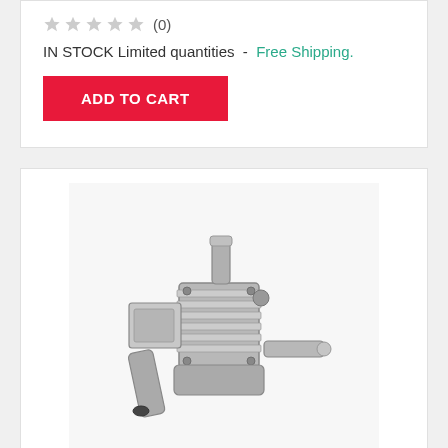(0)
IN STOCK Limited quantities  -  Free Shipping.
ADD TO CART
[Figure (photo): Product photo of RCGF 10 Cc Stinger SE Gas Engine Set — a small single-cylinder gasoline engine with metal cooling fins and exhaust pipe, photographed on white background.]
RCGF 10 Cc Stinger SE Gas Engine Set
$229.99
(0)
IN STOCK!  -  Free Shipping.